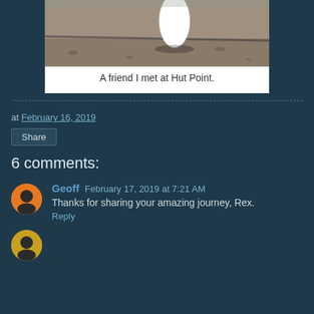[Figure (photo): A photo of a penguin (partially visible, white body) standing on rocky/sandy ground at Hut Point, cropped to show only the lower portion of the bird and the ground.]
A friend I met at Hut Point.
at February 16, 2019
Share
6 comments:
Geoff February 17, 2019 at 7:21 AM
Thanks for sharing your amazing journey, Rex.
Reply